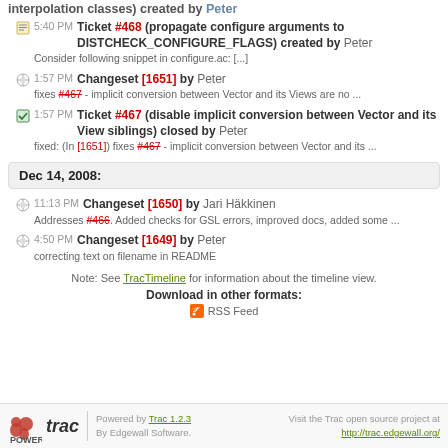interpolation classes) created by Peter
5:40 PM Ticket #468 (propagate configure arguments to DISTCHECK_CONFIGURE_FLAGS) created by Peter
Consider following snippet in configure.ac: [...]
1:57 PM Changeset [1651] by Peter
fixes #467 - implicit conversion between Vector and its Views are no ...
1:57 PM Ticket #467 (disable implicit conversion between Vector and its View siblings) closed by Peter
fixed: (In [1651]) fixes #467 - implicit conversion between Vector and its ...
Dec 14, 2008:
11:13 PM Changeset [1650] by Jari Häkkinen
Addresses #466. Added checks for GSL errors, improved docs, added some ...
4:50 PM Changeset [1649] by Peter
correcting text on filename in README
Note: See TracTimeline for information about the timeline view.
Download in other formats:
RSS Feed
Powered by Trac 1.2.3 By Edgewall Software. Visit the Trac open source project at http://trac.edgewall.org/